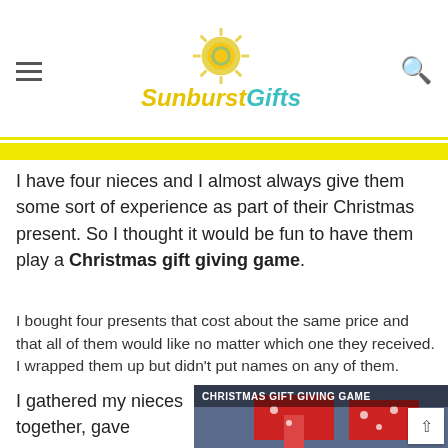Sunburst Gifts
I have four nieces and I almost always give them some sort of experience as part of their Christmas present. So I thought it would be fun to have them play a Christmas gift giving game.
I bought four presents that cost about the same price and that all of them would like no matter which one they received. I wrapped them up but didn't put names on any of them.
I gathered my nieces together, gave
[Figure (photo): Photo titled 'Christmas Gift Giving Game' showing people holding wrapped red Christmas presents]